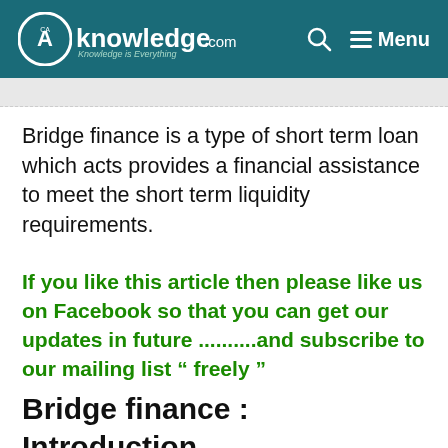CAknowledge.com — Knowledge is Everything | Menu
Bridge finance is a type of short term loan which acts provides a financial assistance to meet the short term liquidity requirements.
If you like this article then please like us on Facebook so that you can get our updates in future ..........and subscribe to our mailing list “ freely ”
Bridge finance : Introduction